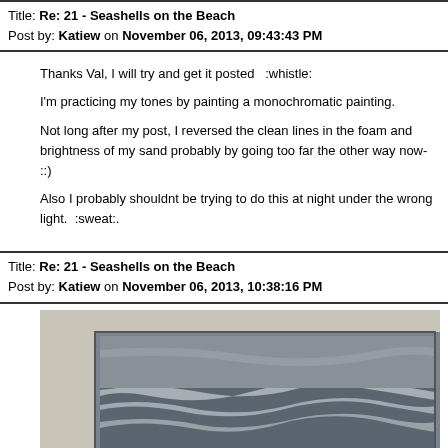Title: Re: 21 - Seashells on the Beach
Post by: Katiew on November 06, 2013, 09:43:43 PM
Thanks Val, I will try and get it posted  :whistle:
I'm practicing my tones by painting a monochromatic painting.
Not long after my post, I reversed the clean lines in the foam and brightness of my sand probably by going too far the other way now-  ::)
Also I probably shouldnt be trying to do this at night under the wrong light.  :sweat:.
Title: Re: 21 - Seashells on the Beach
Post by: Katiew on November 06, 2013, 10:38:16 PM
[Figure (photo): A monochromatic painting of a beach scene showing ocean waves with foam, painted in muted grey-blue tones, photographed at an angle against a light wall.]